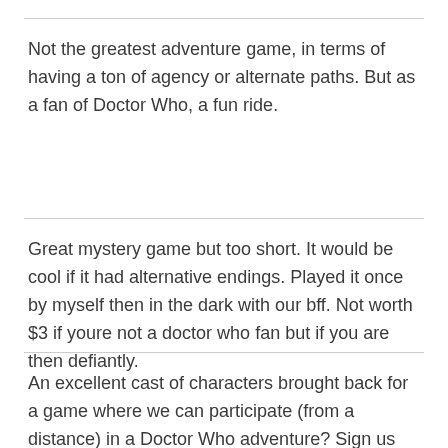Not the greatest adventure game, in terms of having a ton of agency or alternate paths. But as a fan of Doctor Who, a fun ride.
Great mystery game but too short. It would be cool if it had alternative endings. Played it once by myself then in the dark with our bff. Not worth $3 if youre not a doctor who fan but if you are then defiantly.
An excellent cast of characters brought back for a game where we can participate (from a distance) in a Doctor Who adventure? Sign us up! We loved the originality of the game, the use of video and audio, and the puzzles (although we could always take a few more puzzles). We hope theres a